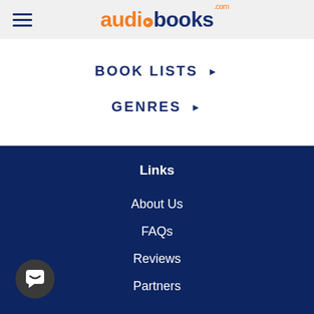audiobooks.com
BOOK LISTS ▶
GENRES ▶
Links
About Us
FAQs
Reviews
Partners